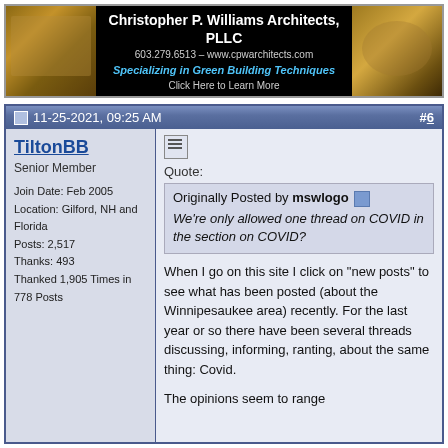[Figure (other): Advertisement banner for Christopher P. Williams Architects, PLLC with photos of interior spaces and text: 603.279.6513 – www.cpwarchitects.com, Specializing in Green Building Techniques, Click Here to Learn More]
11-25-2021, 09:25 AM   #6
TiltonBB
Senior Member

Join Date: Feb 2005
Location: Gilford, NH and Florida
Posts: 2,517
Thanks: 493
Thanked 1,905 Times in 778 Posts
Quote:
Originally Posted by mswlogo
We're only allowed one thread on COVID in the section on COVID?
When I go on this site I click on "new posts" to see what has been posted (about the Winnipesaukee area) recently. For the last year or so there have been several threads discussing, informing, ranting, about the same thing: Covid.

The opinions seem to range